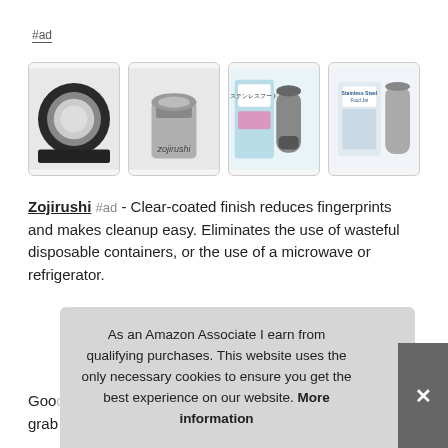#ad
[Figure (photo): Four product images of a Zojirushi stainless steel food jar: lid view, open jar view, jar with packaging front, jar with packaging side]
Zojirushi #ad - Clear-coated finish reduces fingerprints and makes cleanup easy. Eliminates the use of wasteful disposable containers, or the use of a microwave or refrigerator.
Goo... bev... grab and open. Made from BPA-free material
As an Amazon Associate I earn from qualifying purchases. This website uses the only necessary cookies to ensure you get the best experience on our website. More information